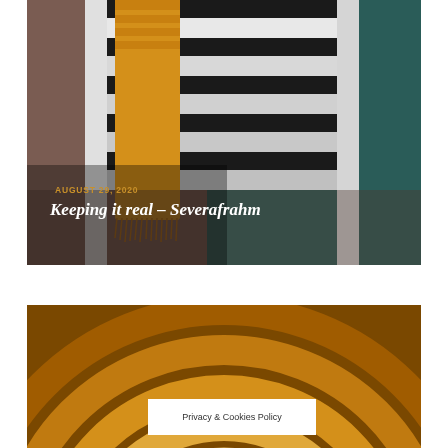[Figure (photo): Interior photo of white staircase with yellow/mustard textile draped over railing, dark teal wall on right, brownish-gray wall on left, dark steps]
AUGUST 29, 2020
Keeping it real – Severafrahm
[Figure (photo): Abstract circular rings in warm amber/orange tones with lighter central glow, resembling concentric rings or a sunset]
Privacy & Cookies Policy